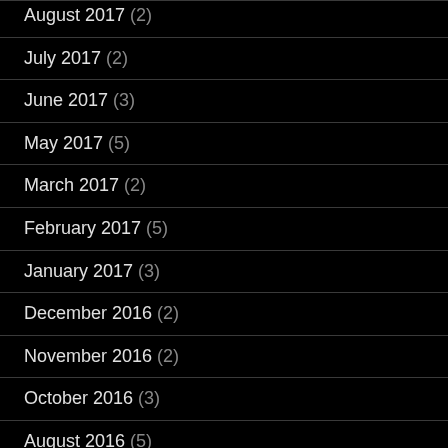August 2017 (2)
July 2017 (2)
June 2017 (3)
May 2017 (5)
March 2017 (2)
February 2017 (5)
January 2017 (3)
December 2016 (2)
November 2016 (2)
October 2016 (3)
August 2016 (5)
June 2016 (7)
March 2016 (3)